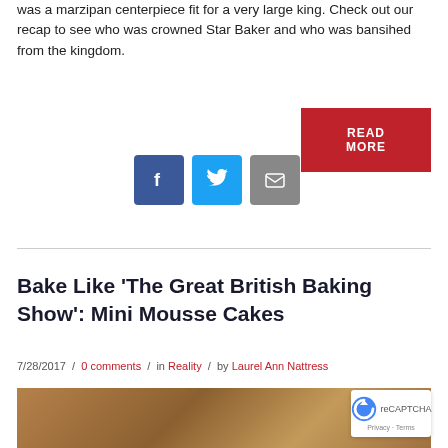was a marzipan centerpiece fit for a very large king. Check out our recap to see who was crowned Star Baker and who was bansihed from the kingdom.
[Figure (other): Red READ MORE button]
[Figure (other): Social share icons: Facebook (blue), Twitter (light blue), Email (grey)]
Bake Like 'The Great British Baking Show': Mini Mousse Cakes
7/28/2017 / 0 comments / in Reality / by Laurel Ann Nattress
[Figure (photo): Photo of mini mousse cakes with sticks, brown and orange tones]